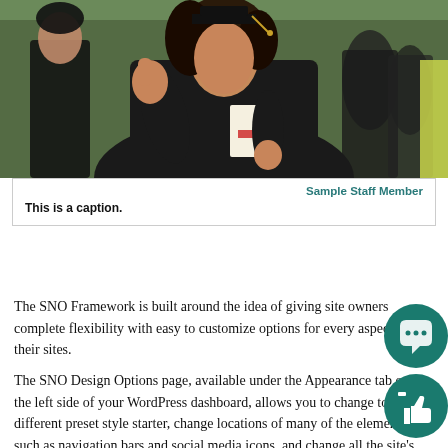[Figure (photo): Graduate in black gown and cap giving thumbs up, holding a diploma with red ribbon, with other graduates in background]
Sample Staff Member
This is a caption.
The SNO Framework is built around the idea of giving site owners complete flexibility with easy to customize options for every aspect of their sites.
The SNO Design Options page, available under the Appearance tab on the left side of your WordPress dashboard, allows you to change to a different preset style starter, change locations of many of the elements such as navigation bars and social media icons, and change all the site's colors, fonts, and styles.